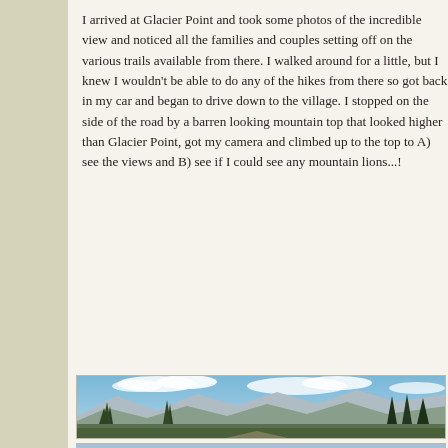I arrived at Glacier Point and took some photos of the incredible view and noticed all the families and couples setting off on the various trails available from there. I walked around for a little, but I knew I wouldn't be able to do any of the hikes from there so got back in my car and began to drive down to the village. I stopped on the side of the road by a barren looking mountain top that looked higher than Glacier Point, got my camera and climbed up to the top to A) see the views and B) see if I could see any mountain lions...!
[Figure (photo): Panoramic mountain landscape photo showing peaks, evergreen trees in the foreground, and a blue sky with white clouds — taken from an elevated vantage point near Glacier Point, Yosemite.]
[Figure (photo): Second photo, partially visible at the bottom of the page.]